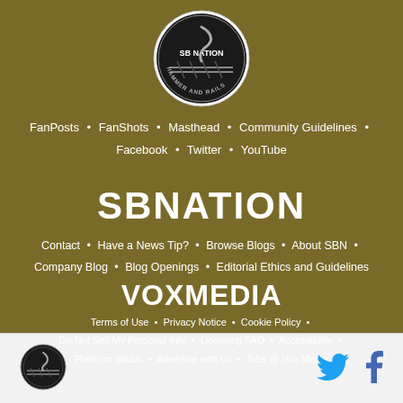[Figure (logo): Hammer and Rails SB Nation circular logo with snake/hammer graphic]
FanPosts • FanShots • Masthead • Community Guidelines •
Facebook • Twitter • YouTube
SBNATION
Contact • Have a News Tip? • Browse Blogs • About SBN •
Company Blog • Blog Openings • Editorial Ethics and Guidelines
VOXMEDIA
Terms of Use • Privacy Notice • Cookie Policy •
Do Not Sell My Personal Info • Licensing FAQ • Accessibility •
Platform Status • Advertise with us • Jobs @ Vox Media
[Figure (logo): Hammer and Rails small circular logo in footer]
[Figure (logo): Twitter and Facebook social media icons in footer]